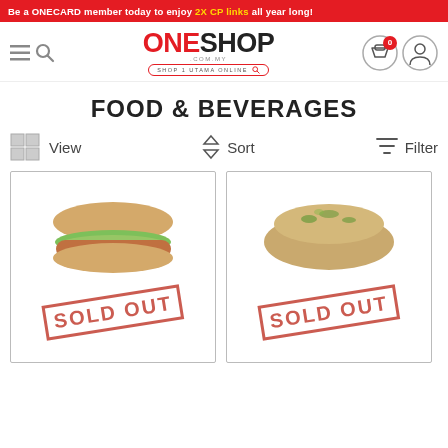Be a ONECARD member today to enjoy 2X CP links all year long!
[Figure (logo): OneShop.com.my logo with tagline SHOP 1 UTAMA ONLINE and navigation icons]
FOOD & BEVERAGES
View  Sort  Filter
[Figure (photo): Product card 1 - food item (sandwich/hotdog) with SOLD OUT stamp overlay]
[Figure (photo): Product card 2 - food item (bread/pastry) with SOLD OUT stamp overlay]